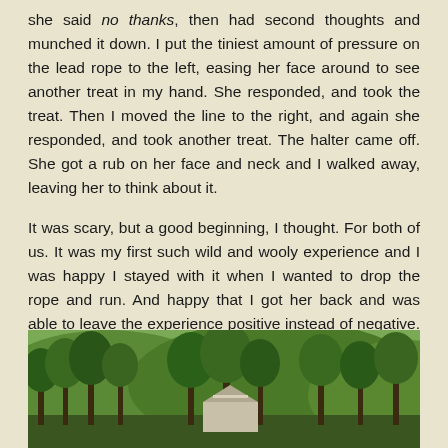she said no thanks, then had second thoughts and munched it down. I put the tiniest amount of pressure on the lead rope to the left, easing her face around to see another treat in my hand. She responded, and took the treat. Then I moved the line to the right, and again she responded, and took another treat. The halter came off. She got a rub on her face and neck and I walked away, leaving her to think about it.
It was scary, but a good beginning, I thought. For both of us. It was my first such wild and wooly experience and I was happy I stayed with it when I wanted to drop the rope and run. And happy that I got her back and was able to leave the experience positive instead of negative. And I vowed to not let that mistake happen again.
[Figure (photo): Outdoor rural landscape photograph showing trees and hills in the background, with what appears to be a barn or farm building partially visible. The scene is lush and green with summer foliage.]